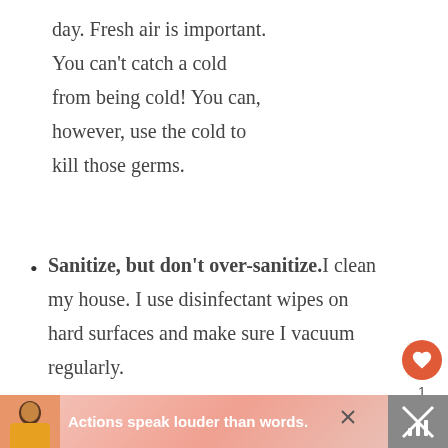day. Fresh air is important. You can't catch a cold from being cold! You can, however, use the cold to kill those germs.
Sanitize, but don't over-sanitize. I clean my house. I use disinfectant wipes on hard surfaces and make sure I vacuum regularly.
[Figure (infographic): Advertisement banner with person, text 'Actions speak louder than words.', close button, and share icon.]